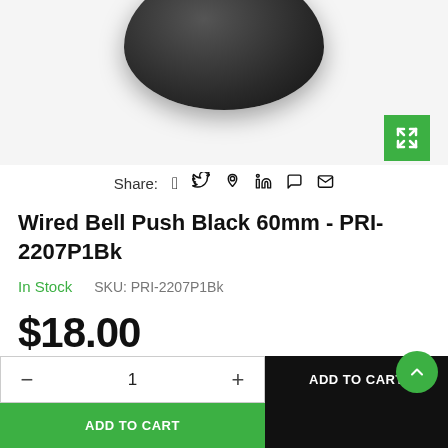[Figure (photo): Black circular wired bell push product photo on light gray background, showing top/front view of a round black disc-shaped bell push button, 60mm diameter]
Share: f  in
Wired Bell Push Black 60mm - PRI-2207P1Bk
In Stock   SKU: PRI-2207P1Bk
$18.00
Add to Wishlist   Delivery & Returns   Enquiry
— 1 +   ADD TO CART
ADD TO CART